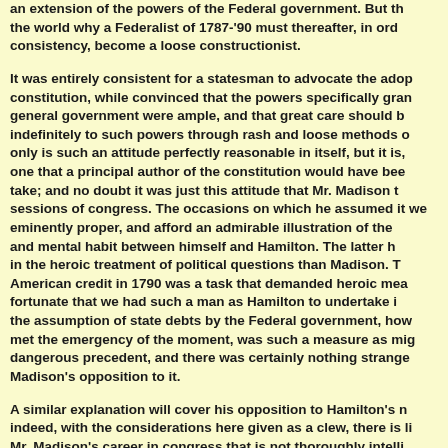an extension of the powers of the Federal government. But the world why a Federalist of 1787-'90 must thereafter, in ord consistency, become a loose constructionist.
It was entirely consistent for a statesman to advocate the adop constitution, while convinced that the powers specifically gran general government were ample, and that great care should b indefinitely to such powers through rash and loose methods o only is such an attitude perfectly reasonable in itself, but it is, one that a principal author of the constitution would have bee take; and no doubt it was just this attitude that Mr. Madison sessions of congress. The occasions on which he assumed it we eminently proper, and afford an admirable illustration of the and mental habit between himself and Hamilton. The latter h in the heroic treatment of political questions than Madison. T American credit in 1790 was a task that demanded heroic mea fortunate that we had such a man as Hamilton to undertake i the assumption of state debts by the Federal government, how met the emergency of the moment, was such a measure as mig dangerous precedent, and there was certainly nothing strange Madison's opposition to it.
A similar explanation will cover his opposition to Hamilton's n indeed, with the considerations here given as a clew, there is li Mr. Madison's career in congress that is not thoroughly intelli by way the Federalists, disappointed at losing a man of g